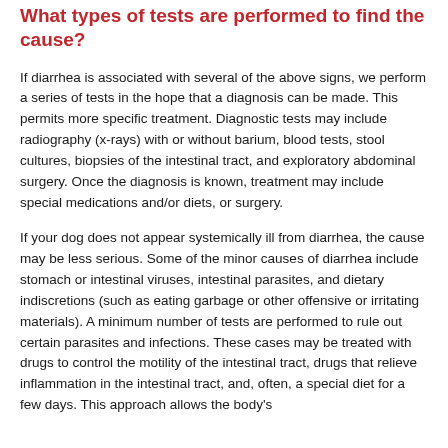What types of tests are performed to find the cause?
If diarrhea is associated with several of the above signs, we perform a series of tests in the hope that a diagnosis can be made. This permits more specific treatment. Diagnostic tests may include radiography (x-rays) with or without barium, blood tests, stool cultures, biopsies of the intestinal tract, and exploratory abdominal surgery. Once the diagnosis is known, treatment may include special medications and/or diets, or surgery.
If your dog does not appear systemically ill from diarrhea, the cause may be less serious. Some of the minor causes of diarrhea include stomach or intestinal viruses, intestinal parasites, and dietary indiscretions (such as eating garbage or other offensive or irritating materials). A minimum number of tests are performed to rule out certain parasites and infections. These cases may be treated with drugs to control the motility of the intestinal tract, drugs that relieve inflammation in the intestinal tract, and, often, a special diet for a few days. This approach allows the body's